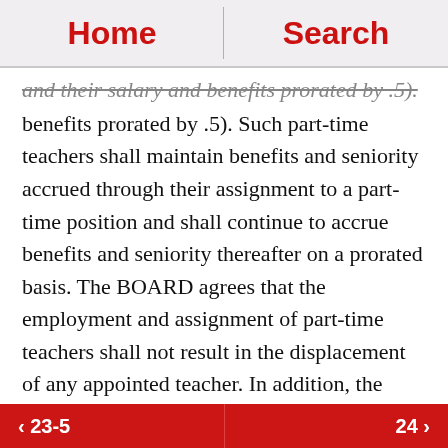Home   Search
and their salary and benefits prorated by .5). Such part-time teachers shall maintain benefits and seniority accrued through their assignment to a part-time position and shall continue to accrue benefits and seniority thereafter on a prorated basis. The BOARD agrees that the employment and assignment of part-time teachers shall not result in the displacement of any appointed teacher. In addition, the BOARD agrees that part-time teachers will not be used to supplant the assignment of appointed teachers.
‹ 23-5    24 ›